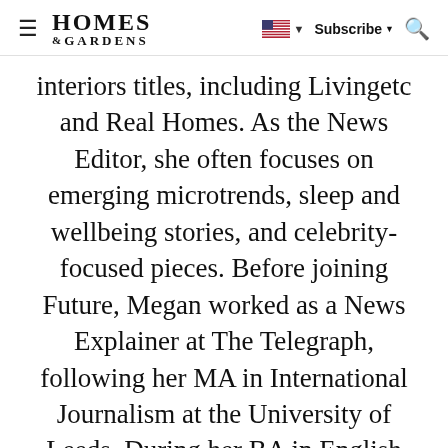≡ HOMES & GARDENS | [US flag] ▼ | Subscribe ▼ 🔍
interiors titles, including Livingetc and Real Homes. As the News Editor, she often focuses on emerging microtrends, sleep and wellbeing stories, and celebrity-focused pieces. Before joining Future, Megan worked as a News Explainer at The Telegraph, following her MA in International Journalism at the University of Leeds. During her BA in English Literature and Creative Writing, she gained writing experience in the US